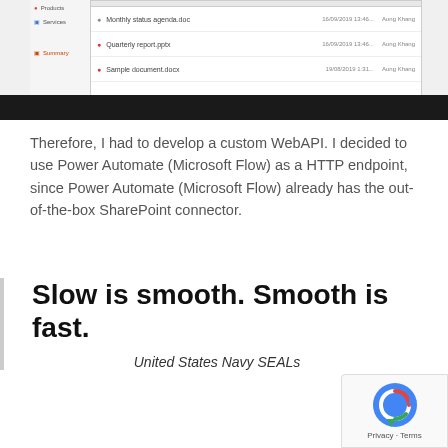[Figure (screenshot): Screenshot of a SharePoint or document management interface showing a list with items including 'Monthly status agenda.doc', 'Quarterly report.pptx', and 'Sample document.docx', with dates and user names (Aung Khang). A black bar appears below the screenshot.]
Therefore, I had to develop a custom WebAPI. I decided to use Power Automate (Microsoft Flow) as a HTTP endpoint, since Power Automate (Microsoft Flow) already has the out-of-the-box SharePoint connector.
Slow is smooth. Smooth is fast.
United States Navy SEALs
[Figure (screenshot): reCAPTCHA badge in bottom-right corner showing the Google reCAPTCHA logo with Privacy and Terms links.]